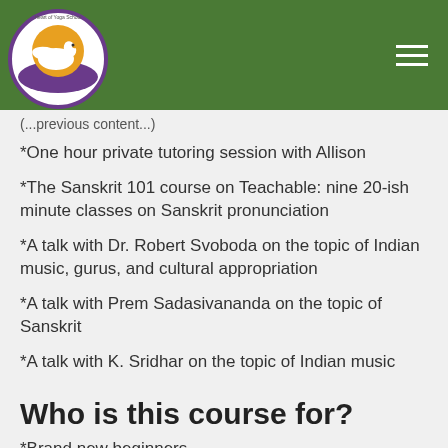Heart of Yoga School
*One hour private tutoring session with Allison
*The Sanskrit 101 course on Teachable: nine 20-ish minute classes on Sanskrit pronunciation
*A talk with Dr. Robert Svoboda on the topic of Indian music, gurus, and cultural appropriation
*A talk with Prem Sadasivananda on the topic of Sanskrit
*A talk with K. Sridhar on the topic of Indian music
Who is this course for?
*Brand new beginners
*Anyone who wants to learn to read the charts in the